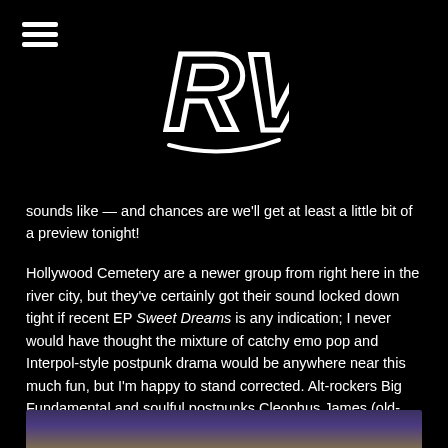RVS logo and hamburger menu
sounds like — and chances are we’ll get at least a little bit of a preview tonight!
Hollywood Cemetery are a newer group from right here in the river city, but they’ve certainly got their sound locked down tight if recent EP Sweet Dreams is any indication; I never would have thought the mixture of catchy emo pop and Interpol-style postpunk drama would be anywhere near this much fun, but I’m happy to stand corrected. Alt-rockers Big Fundamental and soulful postpunks Cleophus James (old-person points for you if you know the reference) round out a killer bill of talented Richmond groups you should be paying attention to in the new decade.
[Figure (photo): Partial bottom strip of a concert or album artwork photo with purple and warm tones]